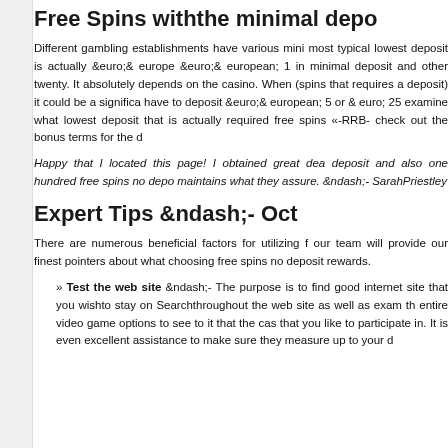Free Spins withthe minimal depo
Different gambling establishments have various mini most typical lowest deposit is actually &euro;& europe &euro;& european; 1 in minimal deposit and other twenty. It absolutely depends on the casino. When (spins that requires a deposit) it could be a significa have to deposit &euro;& european; 5 or & euro; 25 examine what lowest deposit that is actually required free spins «-RRB- check out the bonus terms for the d
Happy that I located this page! I obtained great dea deposit and also one hundred free spins no depo maintains what they assure. &ndash;- SarahPriestley
Expert Tips &ndash;- Oct
There are numerous beneficial factors for utilizing f our team will provide our finest pointers about what choosing free spins no deposit rewards.
Test the web site &ndash;- The purpose is to find good internet site that you wishto stay on Searchthroughout the web site as well as exam th entire video game options to see to it that the cas that you like to participate in. It is even excellent assistance to make sure they measure up to your d